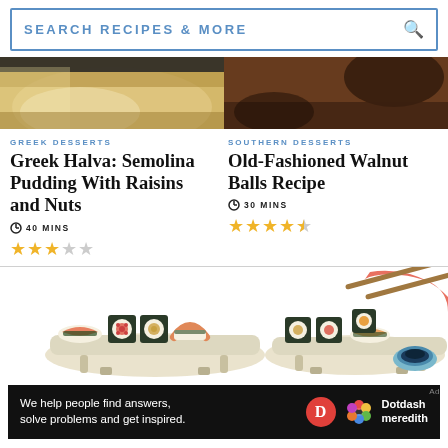SEARCH RECIPES & MORE
[Figure (photo): Top portion of two food photos: left shows a plate with yellow/gold tones (Greek dessert), right shows dark wooden surface with bowl (Southern dessert)]
GREEK DESSERTS
Greek Halva: Semolina Pudding With Raisins and Nuts
40 MINS
★★★☆☆ (3 out of 5 stars)
SOUTHERN DESSERTS
Old-Fashioned Walnut Balls Recipe
30 MINS
★★★★½ (4.5 out of 5 stars)
[Figure (illustration): Colorful illustration of sushi rolls on plates with chopsticks and soy sauce bowl]
Ad
We help people find answers, solve problems and get inspired. Dotdash meredith